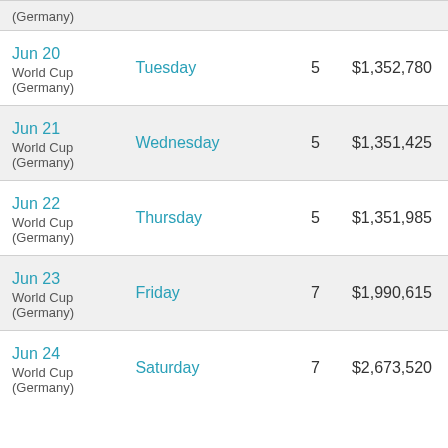| Date | Day | Events | Gross |
| --- | --- | --- | --- |
| (Germany) |  |  |  |
| Jun 20
World Cup
(Germany) | Tuesday | 5 | $1,352,780 |
| Jun 21
World Cup
(Germany) | Wednesday | 5 | $1,351,425 |
| Jun 22
World Cup
(Germany) | Thursday | 5 | $1,351,985 |
| Jun 23
World Cup
(Germany) | Friday | 7 | $1,990,615 |
| Jun 24
World Cup
(Germany) | Saturday | 7 | $2,673,520 |